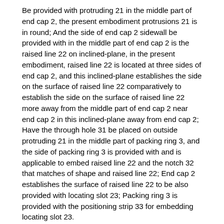Be provided with protruding 21 in the middle part of end cap 2, the present embodiment protrusions 21 is in round; And the side of end cap 2 sidewall be provided with in the middle part of end cap 2 is the raised line 22 on inclined-plane, in the present embodiment, raised line 22 is located at three sides of end cap 2, and this inclined-plane establishes the side on the surface of raised line 22 comparatively to establish the side on the surface of raised line 22 more away from the middle part of end cap 2 near end cap 2 in this inclined-plane away from end cap 2; Have the through hole 31 be placed on outside protruding 21 in the middle part of packing ring 3, and the side of packing ring 3 is provided with and is applicable to embed raised line 22 and the notch 32 that matches of shape and raised line 22; End cap 2 establishes the surface of raised line 22 to be also provided with locating slot 23; Packing ring 3 is provided with the positioning strip 33 for embedding locating slot 23.
The lower end of end cap 2 is provided with the spacing salient point 24 that can contact at housing 1; And the upper end of end cap 2 is provided with the spacing block edge 25 that can contact at housing 1.